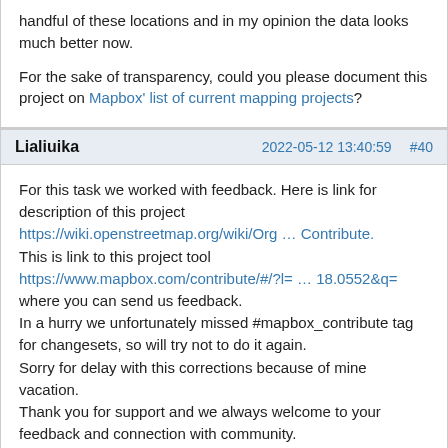handful of these locations and in my opinion the data looks much better now.
For the sake of transparency, could you please document this project on Mapbox' list of current mapping projects?
Lialiuika
2022-05-12 13:40:59
#40
For this task we worked with feedback. Here is link for description of this project https://wiki.openstreetmap.org/wiki/Org … Contribute. This is link to this project tool https://www.mapbox.com/contribute/#/?l= … 18.0552&q= where you can send us feedback.
In a hurry we unfortunately missed #mapbox_contribute tag for changesets, so will try not to do it again.
Sorry for delay with this corrections because of mine vacation.
Thank you for support and we always welcome to your feedback and connection with community.
Pages:  Previous  |  1  |  2
Index › users: Netherlands